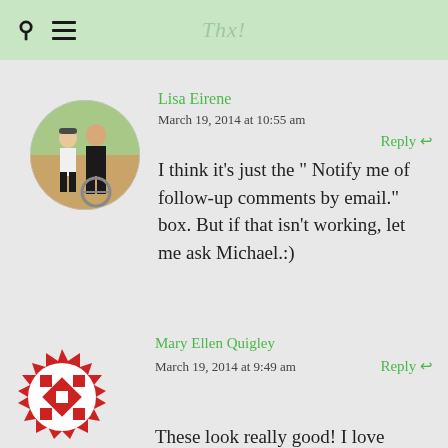Thx!
Lisa Eirene
March 19, 2014 at 10:55 am
Reply
[Figure (photo): Circular avatar photo of two people in athletic/cycling gear outdoors]
I think it’s just the “ Notify me of follow-up comments by email.” box. But if that isn’t working, let me ask Michael.:)
[Figure (logo): Red and white geometric quilt/pinwheel pattern avatar icon for Mary Ellen Quigley]
Mary Ellen Quigley
March 19, 2014 at 9:49 am
Reply
These look really good! I love breakfast